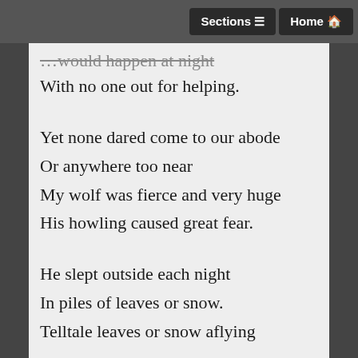Sections  Home
…would happen at night
With no one out for helping.
Yet none dared come to our abode
Or anywhere too near
My wolf was fierce and very huge
His howling caused great fear.
He slept outside each night
In piles of leaves or snow.
Telltale leaves or snow aflying